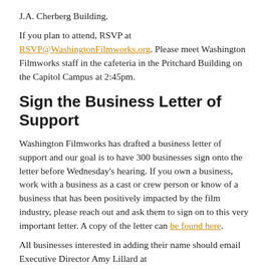J.A. Cherberg Building.
If you plan to attend, RSVP at RSVP@WashingtonFilmworks.org. Please meet Washington Filmworks staff in the cafeteria in the Pritchard Building on the Capitol Campus at 2:45pm.
Sign the Business Letter of Support
Washington Filmworks has drafted a business letter of support and our goal is to have 300 businesses sign onto the letter before Wednesday's hearing. If you own a business, work with a business as a cast or crew person or know of a business that has been positively impacted by the film industry, please reach out and ask them to sign on to this very important letter. A copy of the letter can be found here.
All businesses interested in adding their name should email Executive Director Amy Lillard at Amy@WashingtonFilmworks.org. Please note: